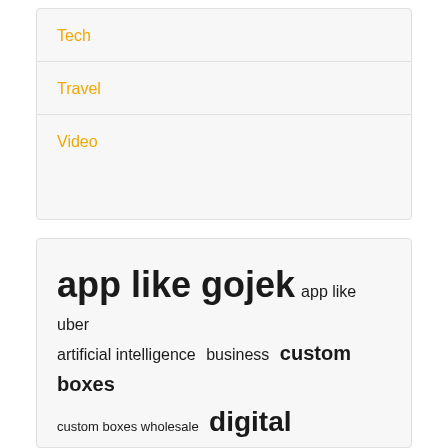Tech
Travel
Video
app like gojek  app like uber  artificial intelligence  business  custom boxes  custom boxes wholesale  digital marketing  digital marketing agency  DSLR Camera  food delivery app  Gojek clone  gojek clone 2022  gojek clone app